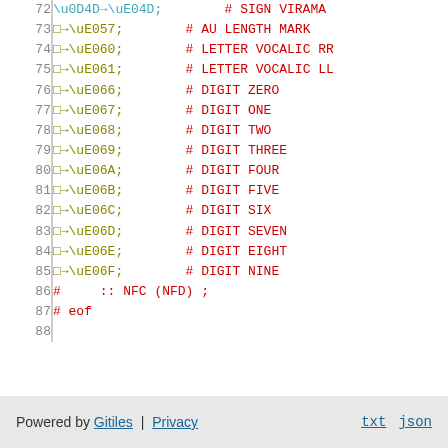72  \u0D4D→\uE04D;        # SIGN VIRAMA
73  □→\uE057;        # AU LENGTH MARK
74  □→\uE060;        # LETTER VOCALIC RR
75  □→\uE061;        # LETTER VOCALIC LL
76  □→\uE066;        # DIGIT ZERO
77  □→\uE067;        # DIGIT ONE
78  □→\uE068;        # DIGIT TWO
79  □→\uE069;        # DIGIT THREE
80  □→\uE06A;        # DIGIT FOUR
81  □→\uE06B;        # DIGIT FIVE
82  □→\uE06C;        # DIGIT SIX
83  □→\uE06D;        # DIGIT SEVEN
84  □→\uE06E;        # DIGIT EIGHT
85  □→\uE06F;        # DIGIT NINE
86  #     :: NFC (NFD) ;
87  # eof
88
Powered by Gitiles | Privacy    txt  json